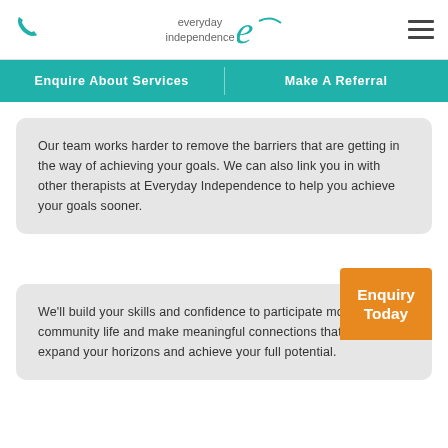everyday independence — phone icon, hamburger menu
Enquire About Services   Make A Referral
Our team works harder to remove the barriers that are getting in the way of achieving your goals. We can also link you in with other therapists at Everyday Independence to help you achieve your goals sooner.
We'll build your skills and confidence to participate more in community life and make meaningful connections that help you expand your horizons and achieve your full potential.